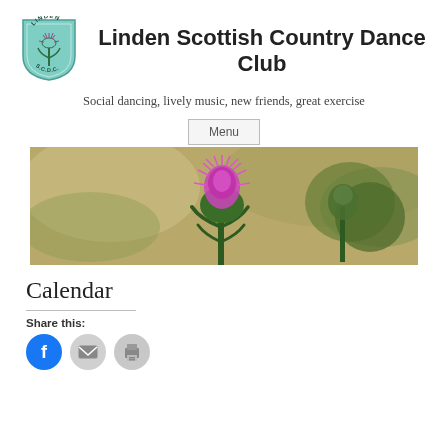[Figure (logo): Linden Scottish Country Dance Club shield logo with thistle and LINDEN S.C.D.C. text in teal/green]
Linden Scottish Country Dance Club
Social dancing, lively music, new friends, great exercise
Menu
[Figure (photo): Close-up photo of a purple Scottish thistle flower with green background, blurred bokeh style]
Calendar
Share this:
[Figure (illustration): Social share icons: Facebook (blue circle), email (grey circle), print (grey circle)]